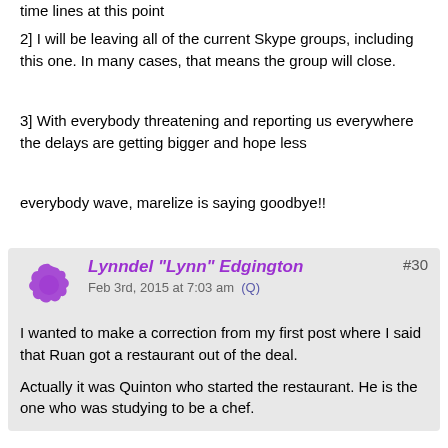time lines at this point
2] I will be leaving all of the current Skype groups, including this one. In many cases, that means the group will close.
3] With everybody threatening and reporting us everywhere the delays are getting bigger and hope less
everybody wave, marelize is saying goodbye!!
Lynndel "Lynn" Edgington
Feb 3rd, 2015 at 7:03 am  (Q)
#30
I wanted to make a correction from my first post where I said that Ruan got a restaurant out of the deal.
Actually it was Quinton who started the restaurant. He is the one who was studying to be a chef.
Lynndel "Lynn" Edgington
Feb 6th, 2015 at 6:15 am  (Q)
#31
Well, Marelize just issued her latest update and it is not sounding good for the members. Here's what she had to say